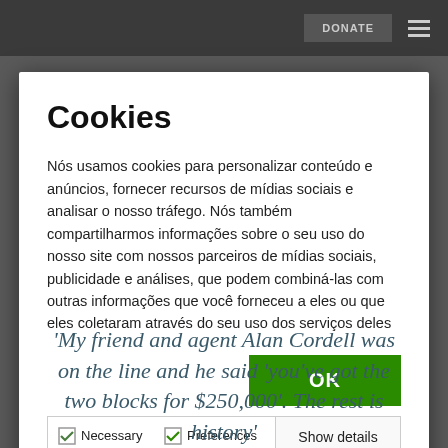DONATE
Cookies
Nós usamos cookies para personalizar conteúdo e anúncios, fornecer recursos de mídias sociais e analisar o nosso tráfego. Nós também compartilharmos informações sobre o seu uso do nosso site com nossos parceiros de mídias sociais, publicidade e análises, que podem combiná-las com outras informações que você forneceu a eles ou que eles coletaram através do seu uso dos serviços deles
OK
Necessary  Preferences  Statistics  Promotion  Show details
'My friend and agent Alan Cordell was on the line and he said 'you've got the two blocks for $250,000'. The rest is history'